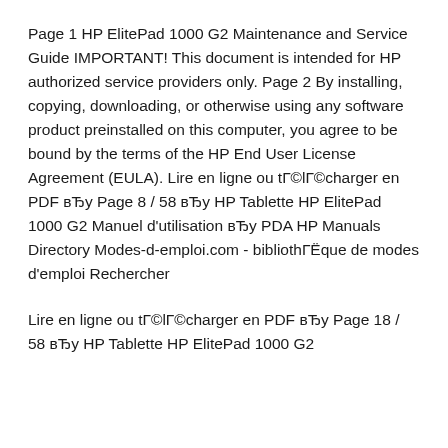Page 1 HP ElitePad 1000 G2 Maintenance and Service Guide IMPORTANT! This document is intended for HP authorized service providers only. Page 2 By installing, copying, downloading, or otherwise using any software product preinstalled on this computer, you agree to be bound by the terms of the HP End User License Agreement (EULA). Lire en ligne ou tГ©lГ©charger en PDF вЂу Page 8 / 58 вЂу HP Tablette HP ElitePad 1000 G2 Manuel d'utilisation вЂу PDA HP Manuals Directory Modes-d-emploi.com - bibliothГЁque de modes d'emploi Rechercher
Lire en ligne ou tГ©lГ©charger en PDF вЂу Page 18 / 58 вЂу HP Tablette HP ElitePad 1000 G2